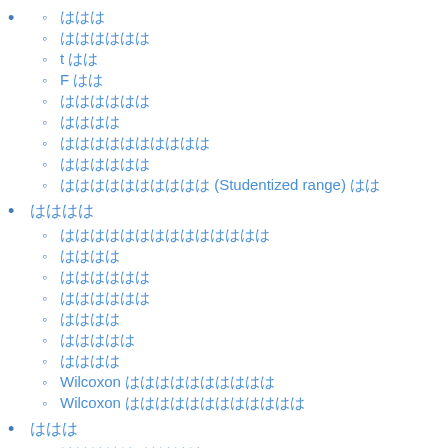ははは
はははははは
t はは
F はは
はははははは
ははははは
はははははははははは
はははははははは
はははははははははは (Studentized range) はは
はははは
はははははははははははははは
はははは
はははははははは
はははははははは
はははは
はははははは
はははは
Wilcoxon はははははははははは
Wilcoxon ははははははははははははは
はははは
はははははは2はははは
はははは
randu